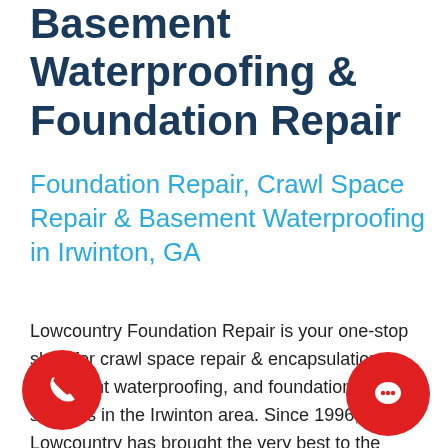Basement Waterproofing & Foundation Repair
Foundation Repair, Crawl Space Repair & Basement Waterproofing in Irwinton, GA
Lowcountry Foundation Repair is your one-stop shop for crawl space repair & encapsulation, basement waterproofing, and foundation repair services in the Irwinton area. Since 1996, Lowcountry has brought the very best to the people of Georgia and South Carolina, with thousands of satisfied customers to back us up.
no-cost, no-obligation estimates for crawl repair, foundation repair, and basement waterproofing in